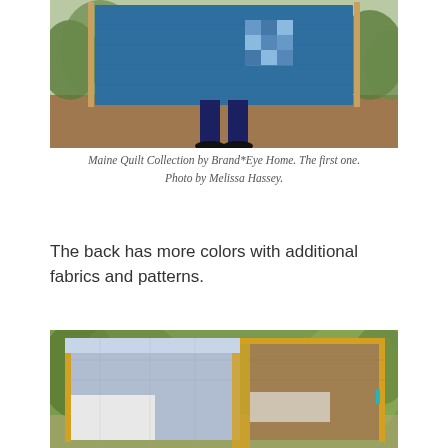[Figure (photo): Person holding a large blue quilt outdoors in a garden/woodland setting. The quilt is predominantly solid blue with a small patchwork square block visible. Person is wearing dark pants and black shoes.]
Maine Quilt Collection by Brand*Eye Home. The first one. Photo by Melissa Hassey.
The back has more colors with additional fabrics and patterns.
[Figure (photo): A quilt hung outdoors showing the back side, with sections of light blue/grey, white, tan/brown fabric patches in a large block pattern. Green foliage visible in the background.]